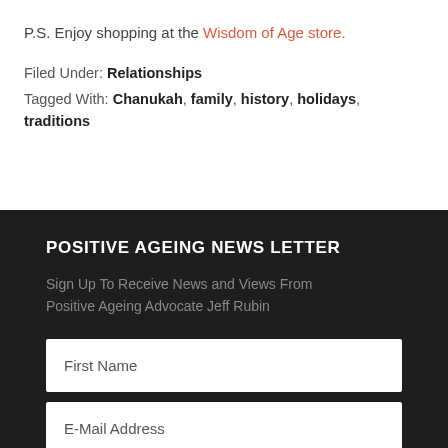P.S. Enjoy shopping at the Wisdom of Age store.
Filed Under: Relationships
Tagged With: Chanukah, family, history, holidays, traditions
POSITIVE AGEING NEWS LETTER
Sign Up To Receive News and Views From Positive Ageing Advocate Jeff Rubin
First Name
E-Mail Address